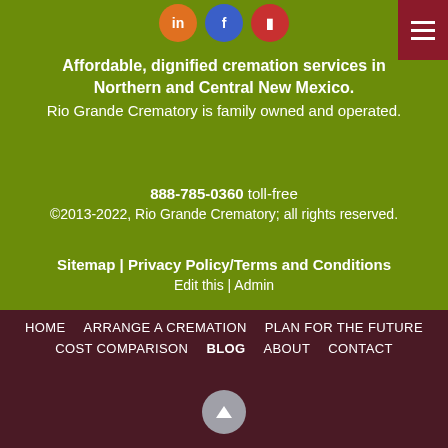[Figure (other): Social media icon circles (orange, blue, red) at top center, and a dark red hamburger menu button at top right]
Affordable, dignified cremation services in Northern and Central New Mexico.
Rio Grande Crematory is family owned and operated.
888-785-0360 toll-free
©2013-2022, Rio Grande Crematory; all rights reserved.
Sitemap | Privacy Policy/Terms and Conditions
Edit this | Admin
HOME   ARRANGE A CREMATION   PLAN FOR THE FUTURE   COST COMPARISON   BLOG   ABOUT   CONTACT